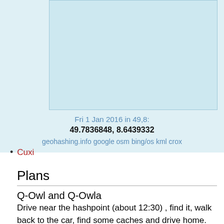[Figure (map): Light blue map area showing geohashing location for Fri 1 Jan 2016 in 49,8]
Fri 1 Jan 2016 in 49,8:
49.7836848, 8.6439332
geohashing.info google osm bing/os kml crox
Cuxi
Plans
Q-Owl and Q-Owla
Drive near the hashpoint (about 12:30) , find it, walk back to the car, find some caches and drive home.